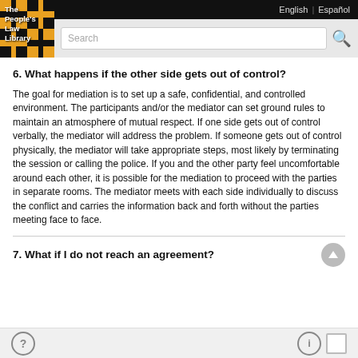The People's Law Library | English | Español
6. What happens if the other side gets out of control?
The goal for mediation is to set up a safe, confidential, and controlled environment. The participants and/or the mediator can set ground rules to maintain an atmosphere of mutual respect. If one side gets out of control verbally, the mediator will address the problem. If someone gets out of control physically, the mediator will take appropriate steps, most likely by terminating the session or calling the police. If you and the other party feel uncomfortable around each other, it is possible for the mediation to proceed with the parties in separate rooms. The mediator meets with each side individually to discuss the conflict and carries the information back and forth without the parties meeting face to face.
7. What if I do not reach an agreement?
? i